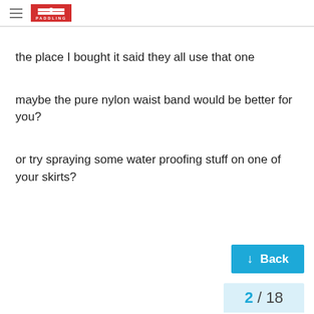PADDLING (logo with hamburger menu)
the place I bought it said they all use that one
maybe the pure nylon waist band would be better for you?
or try spraying some water proofing stuff on one of your skirts?
↓ Back  2 / 18